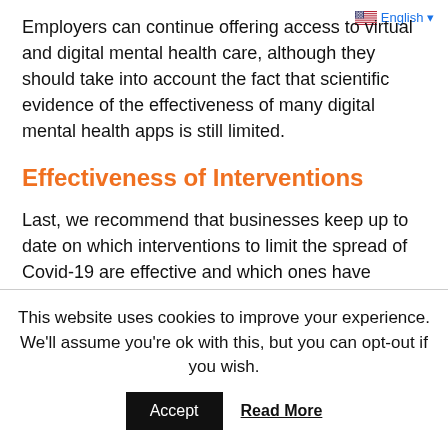Employers can continue offering access to virtual and digital mental health care, although they should take into account the fact that scientific evidence of the effectiveness of many digital mental health apps is still limited.
Effectiveness of Interventions
Last, we recommend that businesses keep up to date on which interventions to limit the spread of Covid-19 are effective and which ones have limited value. For example, we found that most businesses have eliminated temperature screenings, which had proved to be ineffective in decreasing workplace transmission.
This website uses cookies to improve your experience. We'll assume you're ok with this, but you can opt-out if you wish. Accept  Read More